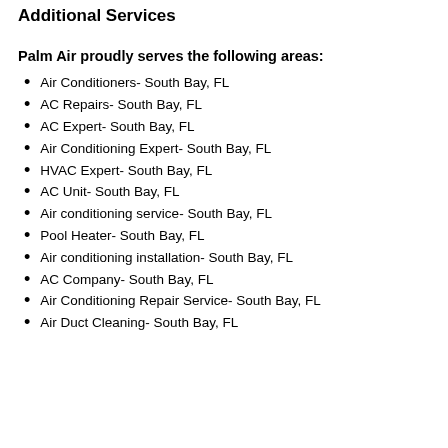Additional Services
Palm Air proudly serves the following areas:
Air Conditioners- South Bay, FL
AC Repairs- South Bay, FL
AC Expert- South Bay, FL
Air Conditioning Expert- South Bay, FL
HVAC Expert- South Bay, FL
AC Unit- South Bay, FL
Air conditioning service- South Bay, FL
Pool Heater- South Bay, FL
Air conditioning installation- South Bay, FL
AC Company- South Bay, FL
Air Conditioning Repair Service- South Bay, FL
Air Duct Cleaning- South Bay, FL